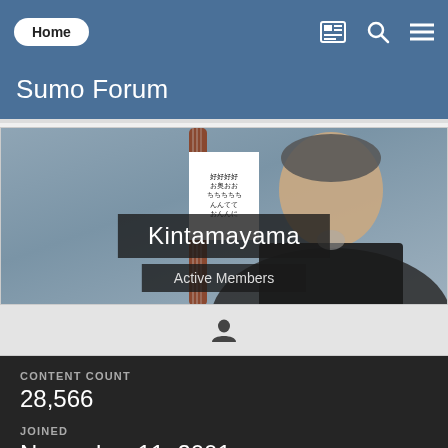Home | Sumo Forum
Sumo Forum
[Figure (photo): Profile page banner showing a middle-aged man in a black leather jacket holding a guitar, with a white box containing Japanese text overlaid, the username 'Kintamayama' in a dark semi-transparent box, and 'Active Members' badge below]
CONTENT COUNT
28,566
JOINED
November 11, 2001